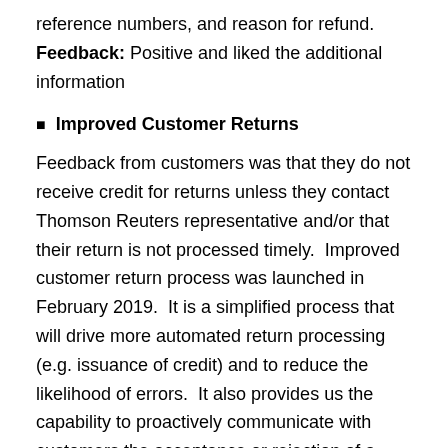reference numbers, and reason for refund. Feedback: Positive and liked the additional information
Improved Customer Returns
Feedback from customers was that they do not receive credit for returns unless they contact Thomson Reuters representative and/or that their return is not processed timely. Improved customer return process was launched in February 2019. It is a simplified process that will drive more automated return processing (e.g. issuance of credit) and to reduce the likelihood of errors. It also provides us the capability to proactively communicate with customers the acceptance or rejection of a return via email. Email notifications are sent to the Billing contact noted on the customer's account. Feedback: Wanted to understand how the Billing contact could be updated. Informed that